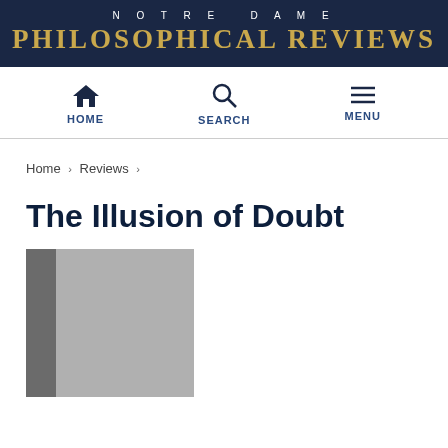NOTRE DAME PHILOSOPHICAL REVIEWS
HOME  SEARCH  MENU
Home › Reviews ›
The Illusion of Doubt
[Figure (photo): Book cover image showing a gray book with spine and front face visible]